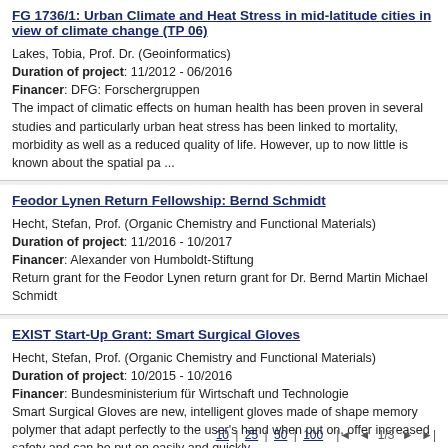FG 1736/1: Urban Climate and Heat Stress in mid-latitude cities in view of climate change (TP 06)
Lakes, Tobia, Prof. Dr. (Geoinformatics)
Duration of project: 11/2012 - 06/2016
Financer: DFG: Forschergruppen
The impact of climatic effects on human health has been proven in several studies and particularly urban heat stress has been linked to mortality, morbidity as well as a reduced quality of life. However, up to now little is known about the spatial pa ...
Feodor Lynen Return Fellowship: Bernd Schmidt
Hecht, Stefan, Prof. (Organic Chemistry and Functional Materials)
Duration of project: 11/2016 - 10/2017
Financer: Alexander von Humboldt-Stiftung
Return grant for the Feodor Lynen return grant for Dr. Bernd Martin Michael Schmidt
EXIST Start-Up Grant: Smart Surgical Gloves
Hecht, Stefan, Prof. (Organic Chemistry and Functional Materials)
Duration of project: 10/2015 - 10/2016
Financer: Bundesministerium für Wirtschaft und Technologie
Smart Surgical Gloves are new, intelligent gloves made of shape memory polymer that adapt perfectly to the user's hand when put on, offer increased safety and can be put on easily and quickly.
10 | 25 | 50 | 100   |◄ ◄ 1/3 ►►|